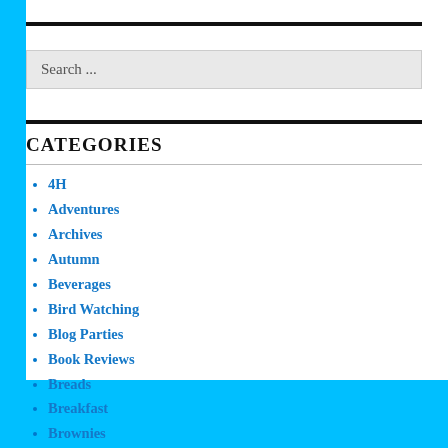Search ...
CATEGORIES
4H
Adventures
Archives
Autumn
Beverages
Bird Watching
Blog Parties
Book Reviews
Breads
Breakfast
Brownies
Cakes
Cancer
Candy
Canning and Preserving
Children